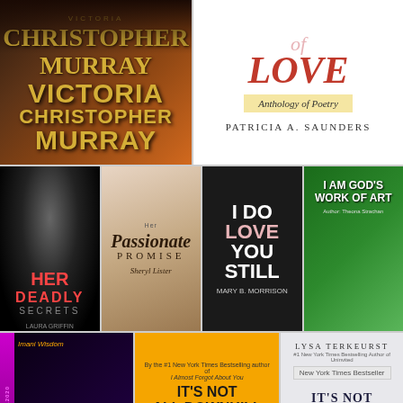[Figure (photo): Book cover: Victoria Christopher Murray - dark brown/orange tones with gold lettering]
[Figure (photo): Book cover: 'of LOVE - Anthology of Poetry' by Patricia A. Saunders - white background with red italic title]
[Figure (photo): Book cover: 'Her Deadly Secrets' by Laura Griffin - dark thriller cover with woman's eyes]
[Figure (photo): Book cover: 'Her Passionate Promise' by Sheryl Lister - romance cover]
[Figure (photo): Book cover: 'I Do Love You Still' by Mary B. Morrison - dark portrait]
[Figure (photo): Book cover: 'I Am God's Work of Art' - children's book with illustrated children]
[Figure (photo): Book cover: 'Lilith' #LilithNovel2020 - dark purple/black with woman figure]
[Figure (photo): Book cover: 'It's Not All Downhill From Here' by Terry McMillan - orange background with illustrated women]
[Figure (photo): Book cover: 'It's Not Supposed To Be This Way' by Lysa TerKeurst - gray/blue background]
[Figure (photo): Partial book cover: decorative symbol/logo on tan background]
[Figure (photo): Partial book cover: Om symbol on red background]
[Figure (photo): Partial book cover: dark blue background]
[Figure (photo): Partial book cover: light background with text]